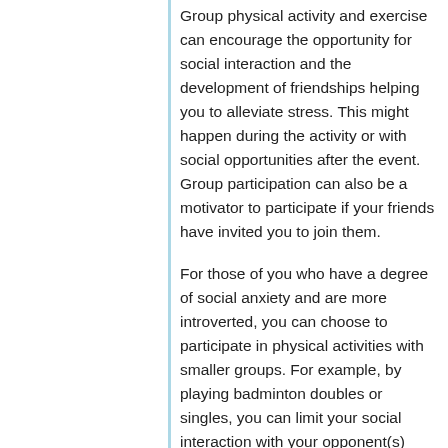Group physical activity and exercise can encourage the opportunity for social interaction and the development of friendships helping you to alleviate stress. This might happen during the activity or with social opportunities after the event. Group participation can also be a motivator to participate if your friends have invited you to join them.
For those of you who have a degree of social anxiety and are more introverted, you can choose to participate in physical activities with smaller groups. For example, by playing badminton doubles or singles, you can limit your social interaction with your opponent(s) and doubles partner.
Alternatively, physical activity and exercise can be solitary, participating